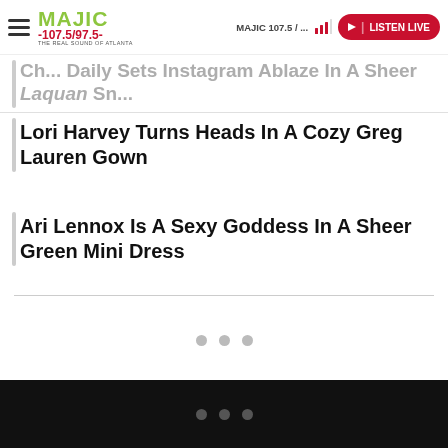MAJIC 107.5 / ... | LISTEN LIVE
Cha... Daily Sets Instagram Ablaze In A Sheer Laquan Sn...
Lori Harvey Turns Heads In A Cozy Greg Lauren Gown
Ari Lennox Is A Sexy Goddess In A Sheer Green Mini Dress
[Figure (other): Loading dots indicator (three gray circles) in an empty white content area below article list]
... (three dots in black footer bar)